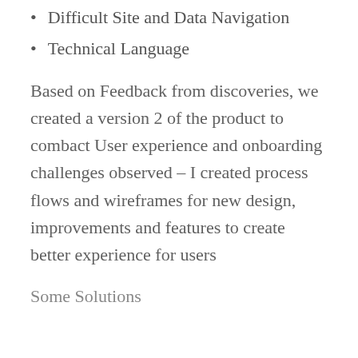Difficult Site and Data Navigation
Technical Language
Based on Feedback from discoveries, we created a version 2 of the product to combact User experience and onboarding challenges observed – I created process flows and wireframes for new design, improvements and features to create better experience for users
Some Solutions